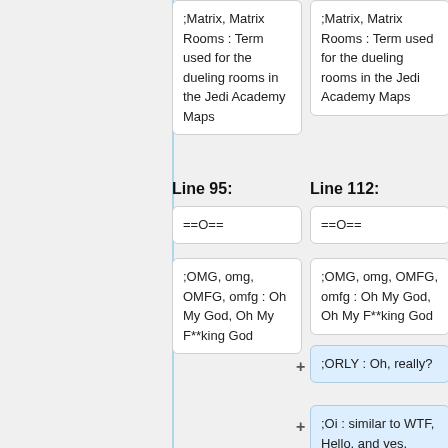;Matrix, Matrix Rooms : Term used for the dueling rooms in the Jedi Academy Maps
;Matrix, Matrix Rooms : Term used for the dueling rooms in the Jedi Academy Maps
Line 95:
Line 112:
==O==
==O==
;OMG, omg, OMFG, omfg : Oh My God, Oh My F**king God
;OMG, omg, OMFG, omfg : Oh My God, Oh My F**king God
;ORLY : Oh, really?
;Oi : similar to WTF, Hello, and yes, depending on context